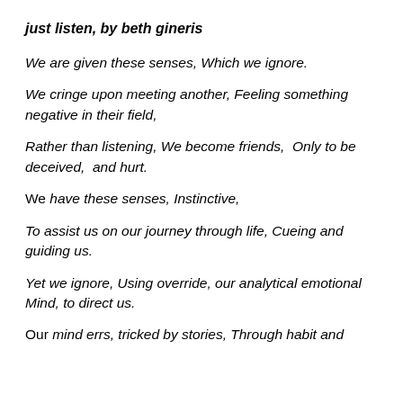just listen, by beth gineris
We are given these senses, Which we ignore.
We cringe upon meeting another, Feeling something negative in their field,
Rather than listening, We become friends,  Only to be deceived,  and hurt.
We have these senses, Instinctive,
To assist us on our journey through life, Cueing and guiding us.
Yet we ignore, Using override, our analytical emotional Mind, to direct us.
Our mind errs, tricked by stories, Through habit and